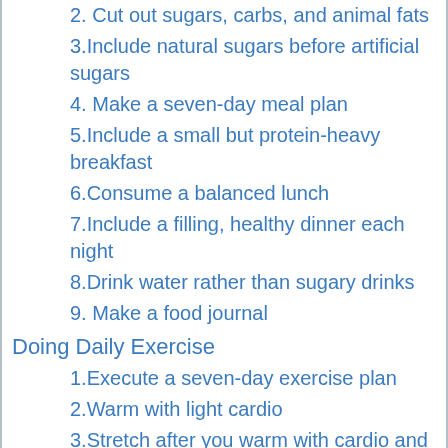2. Cut out sugars, carbs, and animal fats
3.Include natural sugars before artificial sugars
4. Make a seven-day meal plan
5.Include a small but protein-heavy breakfast
6.Consume a balanced lunch
7.Include a filling, healthy dinner each night
8.Drink water rather than sugary drinks
9. Make a food journal
Doing Daily Exercise
1.Execute a seven-day exercise plan
2.Warm with light cardio
3.Stretch after you warm with cardio and at the end of your exercise
4.Perform high-intensity interval training (HIIT)
4.Join a sports team or a frivolous league
5. Get a fitness class
Adjusting Your Lifestyle
1.Ignore eating out during the week